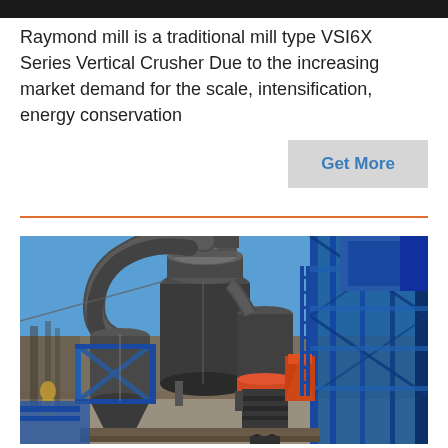Raymond mill is a traditional mill type VSI6X Series Vertical Crusher Due to the increasing market demand for the scale, intensification, energy conservation
[Figure (other): Button labeled 'Get More' with light gray background and blue text]
[Figure (photo): Industrial Raymond mill / vertical crusher machinery photographed outdoors against a clear blue sky. Large gray cylindrical grinding mill with connected pipes and ducts, blue structural framework on the right side, orange safety equipment visible.]